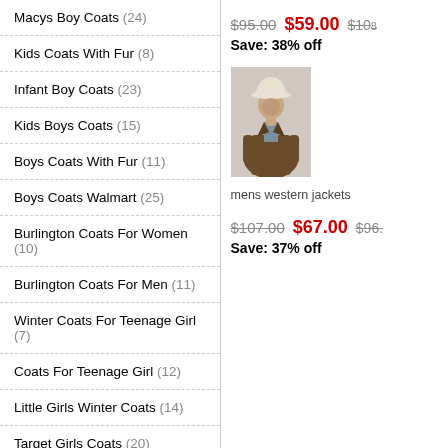Macys Boy Coats (24)
Kids Coats With Fur (8)
Infant Boy Coats (23)
Kids Boys Coats (15)
Boys Coats With Fur (11)
Boys Coats Walmart (25)
Burlington Coats For Women (10)
Burlington Coats For Men (11)
Winter Coats For Teenage Girl (7)
Coats For Teenage Girl (12)
Little Girls Winter Coats (14)
Target Girls Coats (20)
Old Navy Girls Coats (15)
Macys Girls Coats (30)
Walmart Girls Coats (27)
Big Girls Coats (27)
$95.00  $59.00  $108  Save: 38% off
[Figure (photo): Man wearing a brown western leather jacket and white cowboy hat]
mens western jackets
$107.00  $67.00  $96.  Save: 37% off